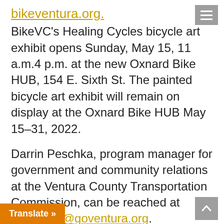bikeventura.org.
BikeVC's Healing Cycles bicycle art exhibit opens Sunday, May 15, 11 a.m.4 p.m. at the new Oxnard Bike HUB, 154 E. Sixth St. The painted bicycle art exhibit will remain on display at the Oxnard Bike HUB May 15–31, 2022.
Darrin Peschka, program manager for government and community relations at the Ventura County Transportation Commission, can be reached at dpeschka@goventura.org.
David Goldstein, Ventura County Public y Environmental Resource